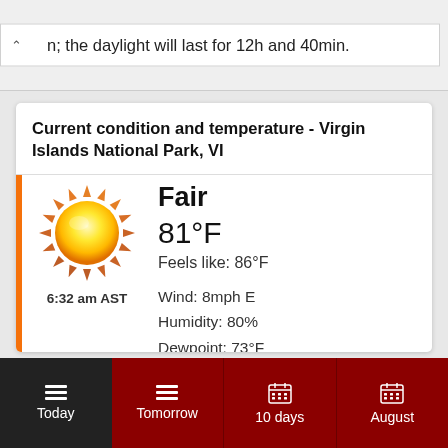n; the daylight will last for 12h and 40min.
Current condition and temperature - Virgin Islands National Park, VI
[Figure (illustration): Sun icon representing fair weather conditions]
Fair
81°F
Feels like: 86°F
6:32 am AST
Wind: 8mph E
Humidity: 80%
Dewpoint: 73°F
Today | Tomorrow | 10 days | August